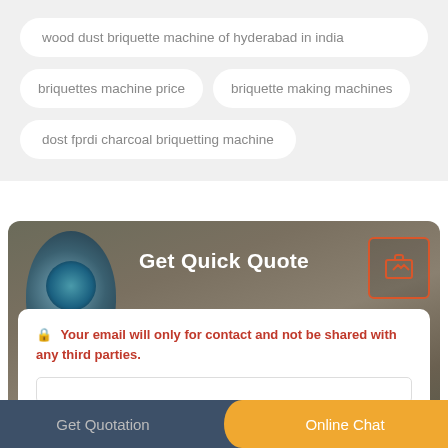wood dust briquette machine of hyderabad in india
briquettes machine price
briquette making machines
dost fprdi charcoal briquetting machine
Get Quick Quote
Your email will only for contact and not be shared with any third parties.
Get Quotation
Online Chat